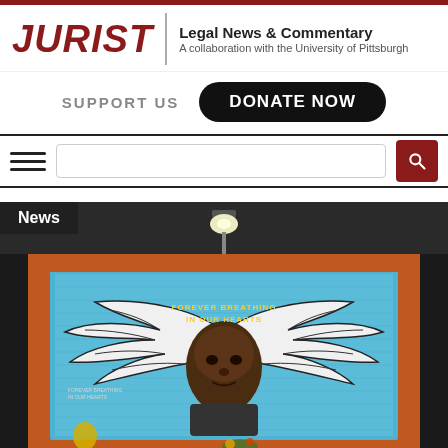JURIST | Legal News & Commentary — A collaboration with the University of Pittsburgh
SUPPORT US   DONATE NOW
[Figure (screenshot): Navigation bar with hamburger menu, search input field, and red search button with magnifying glass icon]
[Figure (photo): A mural on a brick wall depicting a person with angel wings on a blue background, with text reading 'Forever Breathing in our Hearts'. A news badge overlay reads 'News'.]